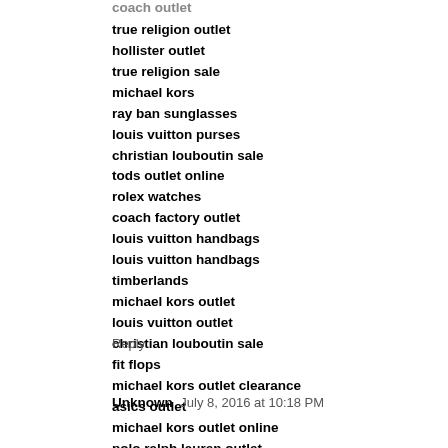coach outlet
true religion outlet
hollister outlet
true religion sale
michael kors
ray ban sunglasses
louis vuitton purses
christian louboutin sale
tods outlet online
rolex watches
coach factory outlet
louis vuitton handbags
louis vuitton handbags
timberlands
michael kors outlet
louis vuitton outlet
christian louboutin sale
fit flops
michael kors outlet clearance
asics outlet
Reply
Unknown  July 8, 2016 at 10:18 PM
michael kors outlet online
polo ralph lauren outlet